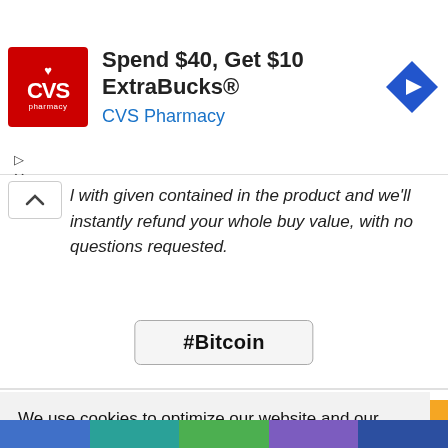[Figure (screenshot): CVS Pharmacy advertisement banner: red CVS pharmacy logo on left, text 'Spend $40, Get $10 ExtraBucks®' in bold black and 'CVS Pharmacy' in blue, navigation diamond icon on right.]
l with given contained in the product and we'll instantly refund your whole buy value, with no questions requested.
#Bitcoin
We use cookies to optimize our website and our service.  Cookie Policy - Privacy Statement
Accept